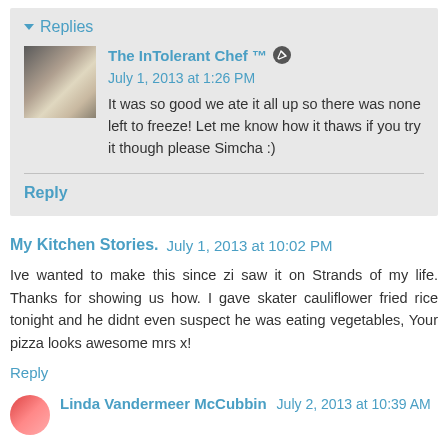▾ Replies
The InTolerant Chef ™  July 1, 2013 at 1:26 PM
It was so good we ate it all up so there was none left to freeze! Let me know how it thaws if you try it though please Simcha :)
Reply
My Kitchen Stories.  July 1, 2013 at 10:02 PM
Ive wanted to make this since zi saw it on Strands of my life. Thanks for showing us how. I gave skater cauliflower fried rice tonight and he didnt even suspect he was eating vegetables, Your pizza looks awesome mrs x!
Reply
Linda Vandermeer McCubbin  July 2, 2013 at 10:39 AM